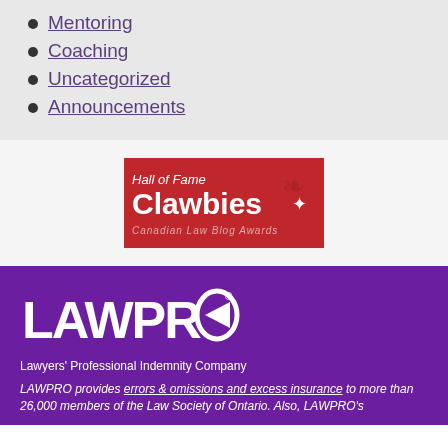Mentoring
Coaching
Uncategorized
Announcements
[Figure (logo): Hall of Fame Clawbies Canadian Law Blog Awards badge on red background]
[Figure (logo): LAWPRO Lawyers' Professional Indemnity Company logo on purple background]
LAWPRO provides errors & omissions and excess insurance to more than 26,000 members of the Law Society of Ontario. Also, LAWPRO's